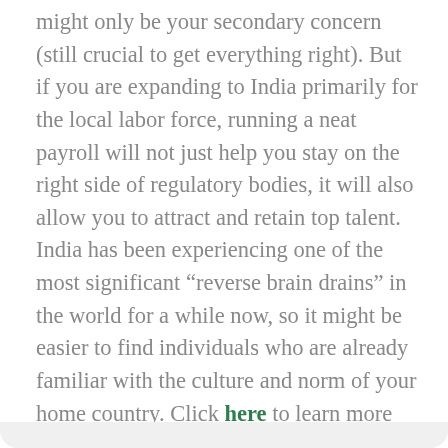might only be your secondary concern (still crucial to get everything right). But if you are expanding to India primarily for the local labor force, running a neat payroll will not just help you stay on the right side of regulatory bodies, it will also allow you to attract and retain top talent. India has been experiencing one of the most significant “reverse brain drains” in the world for a while now, so it might be easier to find individuals who are already familiar with the culture and norm of your home country. Click here to learn more about doing business in India.